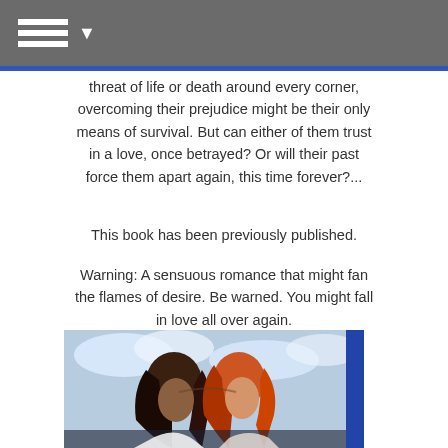☰ ▼
threat of life or death around every corner, overcoming their prejudice might be their only means of survival. But can either of them trust in a love, once betrayed? Or will their past force them apart again, this time forever?...
This book has been previously published.
Warning: A sensuous romance that might fan the flames of desire. Be warned. You might fall in love all over again.
Goodreads * Amazon
[Figure (photo): Two people (a dark-haired person and a red-haired person) leaning close together, with a sky/cloud background. Appears to be a romance novel book cover.]